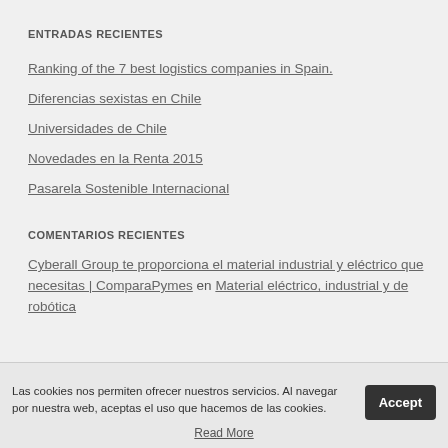ENTRADAS RECIENTES
Ranking of the 7 best logistics companies in Spain.
Diferencias sexistas en Chile
Universidades de Chile
Novedades en la Renta 2015
Pasarela Sostenible Internacional
COMENTARIOS RECIENTES
Cyberall Group te proporciona el material industrial y eléctrico que necesitas | ComparaPymes en Material eléctrico, industrial y de robótica
Las cookies nos permiten ofrecer nuestros servicios. Al navegar por nuestra web, aceptas el uso que hacemos de las cookies.
Read More